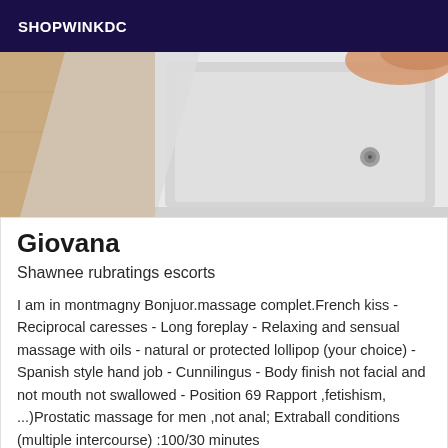SHOPWINKDC
[Figure (photo): Close-up photo of a bathtub corner with a drain visible, light wooden flooring visible on the left, and a person's hand or body partially visible at the top right. Warm tones.]
Giovana
Shawnee rubratings escorts
I am in montmagny Bonjuor.massage complet.French kiss - Reciprocal caresses - Long foreplay - Relaxing and sensual massage with oils - natural or protected lollipop (your choice) - Spanish style hand job - Cunnilingus - Body finish not facial and not mouth not swallowed - Position 69 Rapport ,fetishism, ...)Prostatic massage for men ,not anal; Extraball conditions (multiple intercourse) :100/30 minutes